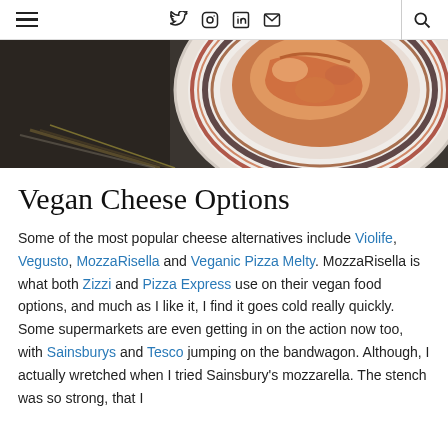≡  𝕏  Instagram  in  ✉  🔍
[Figure (photo): A decorative plate with food (pasta dish) on a dark background, partially visible from above.]
Vegan Cheese Options
Some of the most popular cheese alternatives include Violife, Vegusto, MozzaRisella and Veganic Pizza Melty. MozzaRisella is what both Zizzi and Pizza Express use on their vegan food options, and much as I like it, I find it goes cold really quickly. Some supermarkets are even getting in on the action now too, with Sainsburys and Tesco jumping on the bandwagon. Although, I actually wretched when I tried Sainsbury's mozzarella. The stench was so strong, that I